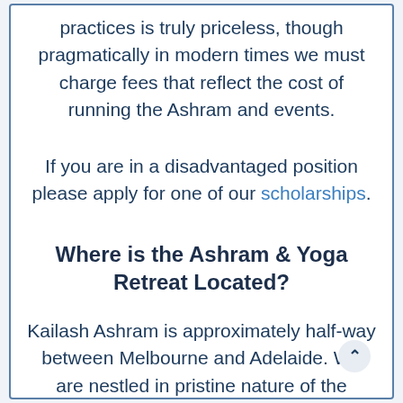practices is truly priceless, though pragmatically in modern times we must charge fees that reflect the cost of running the Ashram and events.
If you are in a disadvantaged position please apply for one of our scholarships.
Where is the Ashram & Yoga Retreat Located?
Kailash Ashram is approximately half-way between Melbourne and Adelaide. We are nestled in pristine nature of the Grampians National Park.